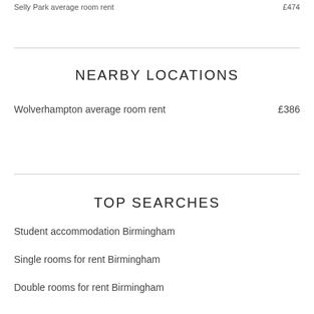Selly Park average room rent ... £474
NEARBY LOCATIONS
Wolverhampton average room rent  £386
TOP SEARCHES
Student accommodation Birmingham
Single rooms for rent Birmingham
Double rooms for rent Birmingham